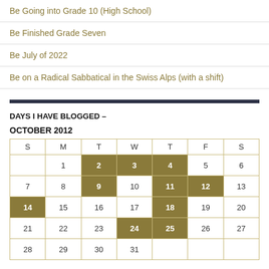Be Going into Grade 10 (High School)
Be Finished Grade Seven
Be July of 2022
Be on a Radical Sabbatical in the Swiss Alps (with a shift)
DAYS I HAVE BLOGGED –
OCTOBER 2012
| S | M | T | W | T | F | S |
| --- | --- | --- | --- | --- | --- | --- |
|  | 1 | 2 | 3 | 4 | 5 | 6 |
| 7 | 8 | 9 | 10 | 11 | 12 | 13 |
| 14 | 15 | 16 | 17 | 18 | 19 | 20 |
| 21 | 22 | 23 | 24 | 25 | 26 | 27 |
| 28 | 29 | 30 | 31 |  |  |  |